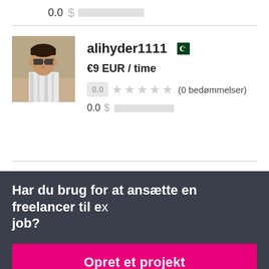0.0 [redacted]
[Figure (photo): Profile photo of user alihyder1111 showing a person wearing sunglasses]
alihyder1111
€9 EUR / time
0.0 ★★★★★ (0 bedømmelser)
0.0 $ [redacted]
Har du brug for at ansætte en freelancer til et job?
Opret et projekt